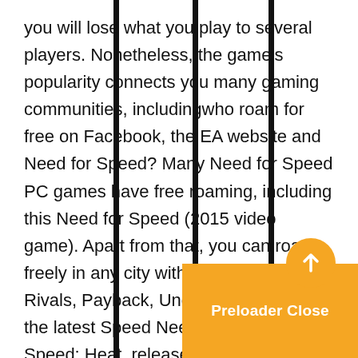you will lose what you play to several players. Nonetheless, the game's popularity connects you many gaming communities, includingwho roam for free on Facebook, the EA website and Need for Speed? Many Need for Speed PC games have free roaming, including this Need for Speed (2015 video game). Apart from that, you can roam freely in any city with NFS games like Rivals, Payback, Underground and is the latest Speed Needed? Need for Speed: Heat, released in November 2019, is the latest game in the series. The story of the game pits you against the rogue police as you try to become an elite racer in the city! Are there any alternatives to Need for Speed? If downloading free NFS games isn't something you want to pamper, there are many options. You can check out racing games like TrackMania, Asphalt 8 and Extreme Race games which are best for PC? While eve
[Figure (other): Orange circular up-arrow button overlay and 'Preloader Close' button in bottom-right corner, typical of a website UI preloader overlay]